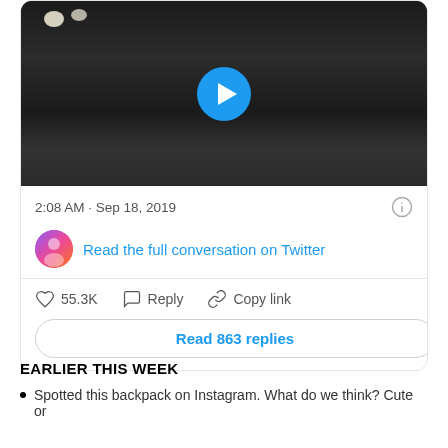[Figure (screenshot): Twitter/X embedded tweet card showing a video thumbnail of a dark cooking pan/wok with a play button overlay, timestamp 2:08 AM · Sep 18, 2019, with a 'Read the full conversation on Twitter' link, 55.3K likes, Reply and Copy link actions, and a 'Read 863 replies' button.]
EARLIER THIS WEEK
Spotted this backpack on Instagram. What do we think? Cute or